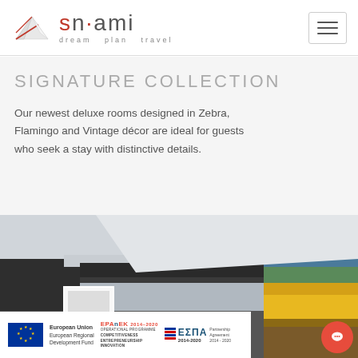snami — dream plan travel
SIGNATURE COLLECTION
Our newest deluxe rooms designed in Zebra, Flamingo and Vintage décor are ideal for guests who seek a stay with distinctive details.
[Figure (photo): Interior photograph of a modern hotel room with dark charcoal wall, recessed ceiling lighting, and a large colorful landscape painting on the right wall.]
European Union European Regional Development Fund | EPAnEK 2014-2020 Operational Programme Competitiveness Entrepreneurship Innovation | ΕΣΠΑ 2014-2020 Partnership Agreement 2014-2020